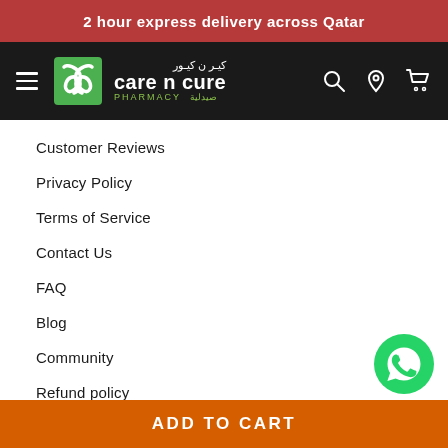2 hour express delivery across Qatar
[Figure (logo): Care n Cure Pharmacy logo with green icon, English and Arabic text on black navbar, plus search, location, and cart icons]
Customer Reviews
Privacy Policy
Terms of Service
Contact Us
FAQ
Blog
Community
Refund policy
Get in touch
Follow us
[Figure (logo): WhatsApp green circular button icon in the bottom right corner]
ADD TO CART